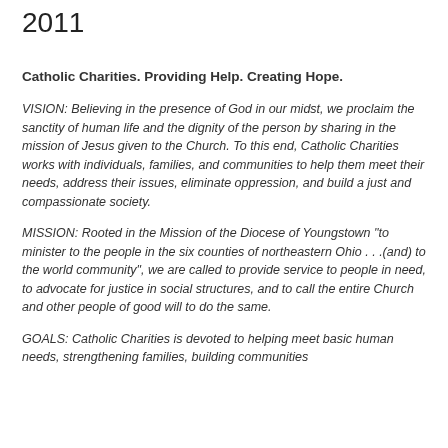2011
Catholic Charities. Providing Help. Creating Hope.
VISION: Believing in the presence of God in our midst, we proclaim the sanctity of human life and the dignity of the person by sharing in the mission of Jesus given to the Church. To this end, Catholic Charities works with individuals, families, and communities to help them meet their needs, address their issues, eliminate oppression, and build a just and compassionate society.
MISSION: Rooted in the Mission of the Diocese of Youngstown "to minister to the people in the six counties of northeastern Ohio . . .(and) to the world community", we are called to provide service to people in need, to advocate for justice in social structures, and to call the entire Church and other people of good will to do the same.
GOALS: Catholic Charities is devoted to helping meet basic human needs, strengthening families, building communities